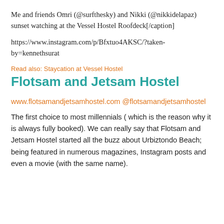Me and friends Omri (@surfthesky) and Nikki (@nikkidelapaz) sunset watching at the Vessel Hostel Roofdeck[/caption]
https://www.instagram.com/p/Bfxtuo4AKSC/?taken-by=kennethsurat
Read also: Staycation at Vessel Hostel
Flotsam and Jetsam Hostel
www.flotsamandjetsamhostel.com @flotsamandjetsamhostel
The first choice to most millennials ( which is the reason why it is always fully booked). We can really say that Flotsam and Jetsam Hostel started all the buzz about Urbiztondo Beach; being featured in numerous magazines, Instagram posts and even a movie (with the same name).